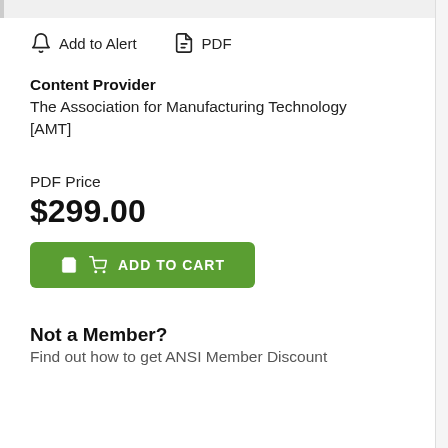[Figure (other): Add to Alert icon (bell) and PDF icon with labels, navigation row]
Content Provider
The Association for Manufacturing Technology [AMT]
PDF Price
$299.00
[Figure (other): Green ADD TO CART button with shopping cart icon]
Not a Member?
Find out how to get ANSI Member Discount